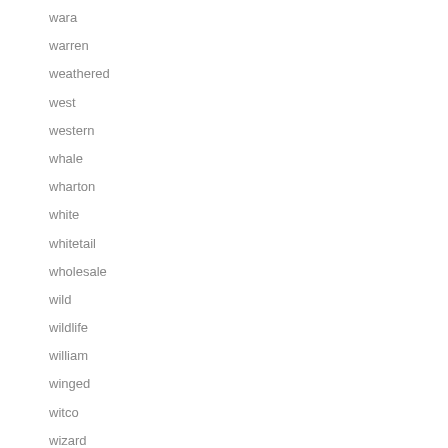wara
warren
weathered
west
western
whale
wharton
white
whitetail
wholesale
wild
wildlife
william
winged
witco
wizard